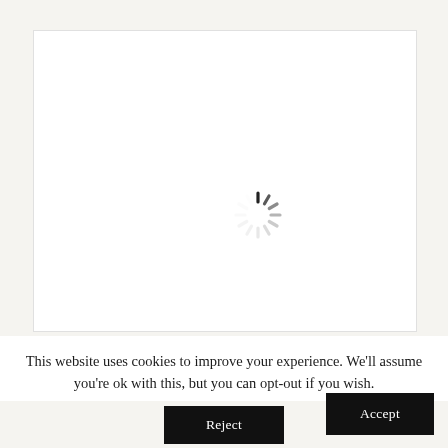[Figure (other): White content loading area with a spinning loader icon in the center, displayed on a light gray background]
This website uses cookies to improve your experience. We'll assume you're ok with this, but you can opt-out if you wish.
Accept
Reject